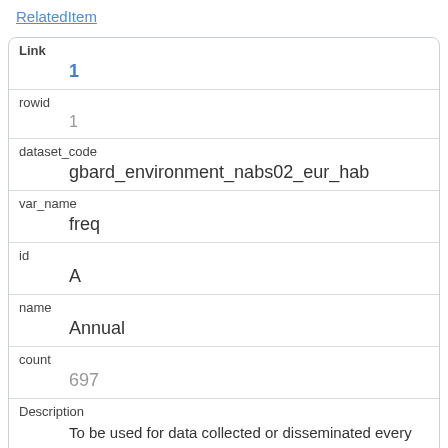RelatedItem
| Field | Value |
| --- | --- |
| Link | 1 |
| rowid | 1 |
| dataset_code | gbard_environment_nabs02_eur_hab |
| var_name | freq |
| id | A |
| name | Annual |
| count | 697 |
| Description | To be used for data collected or disseminated every year |
| RelatedItem | [ |